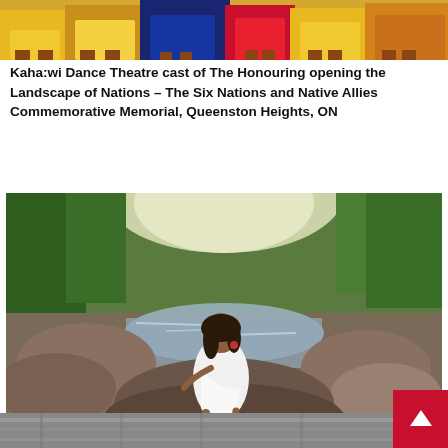[Figure (photo): Kaha:wi Dance Theatre cast members in colorful traditional regalia performing at the opening of Landscape of Nations – The Six Nations and Native Allies Commemorative Memorial, Queenston Heights, ON. Bottom portion of image showing legs and costumes in yellow, orange, and blue.]
Kaha:wi Dance Theatre cast of The Honouring opening the Landscape of Nations – The Six Nations and Native Allies Commemorative Memorial, Queenston Heights, ON
[Figure (photo): A woman in a white dress sitting on rocks beside a rushing river, surrounded by lush green forest. Land based creation process on ancestral Mohawk territory homelands, Adirondack Mountains, New York.]
Land based creation process on ancestral Mohawk territory homelands, Adirondack Mountains, New York.
[Figure (photo): Partial view of a third photograph at the bottom of the page, appearing to show an interior or architectural space.]